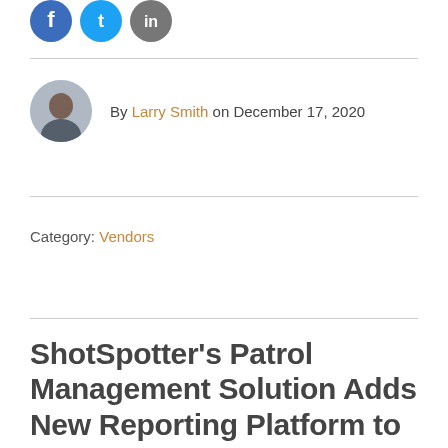[Figure (illustration): Three social media icon circles: blue Facebook icon, light blue Twitter icon, dark gray LinkedIn icon]
By Larry Smith on December 17, 2020
Category: Vendors
ShotSpotter's Patrol Management Solution Adds New Reporting Platform to More Effectively Drive Crime Deterrence and Community